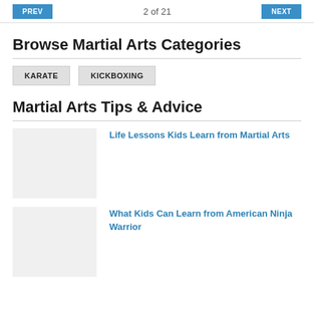PREV  2 of 21  NEXT
Browse Martial Arts Categories
KARATE
KICKBOXING
Martial Arts Tips & Advice
[Figure (photo): Thumbnail image placeholder for Life Lessons Kids Learn from Martial Arts article]
Life Lessons Kids Learn from Martial Arts
[Figure (photo): Thumbnail image placeholder for What Kids Can Learn from American Ninja Warrior article]
What Kids Can Learn from American Ninja Warrior